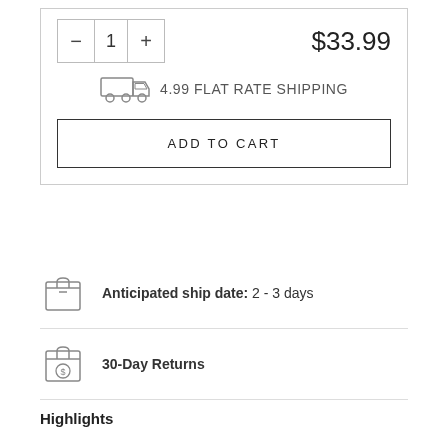$33.99
4.99 FLAT RATE SHIPPING
ADD TO CART
Anticipated ship date: 2 - 3 days
30-Day Returns
Highlights